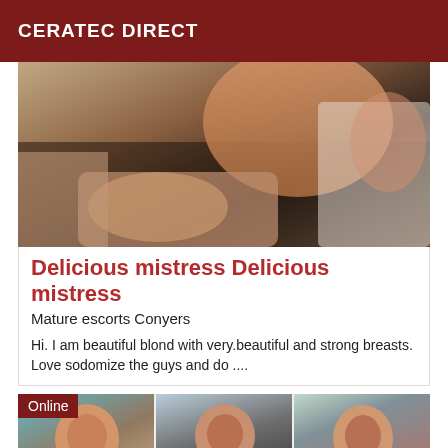CERATEC DIRECT
[Figure (photo): A woman seated, cropped photograph showing legs and torso area, dark background with furniture.]
Delicious mistress Delicious mistress
Mature escorts Conyers
Hi. I am beautiful blond with very.beautiful and strong breasts. Love sodomize the guys and do ....
[Figure (photo): Three photos of mature women side by side at the bottom of the page. The first has an 'Online' badge.]